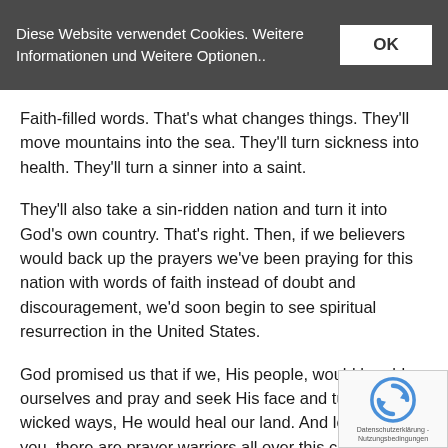Diese Website verwendet Cookies. Weitere Informationen und Weitere Optionen..
Faith-filled words. That's what changes things. They'll move mountains into the sea. They'll turn sickness into health. They'll turn a sinner into a saint.
They'll also take a sin-ridden nation and turn it into God’s own country. That's right. Then, if we believers would back up the prayers we've been praying for this nation with words of faith instead of doubt and discouragement, we'd soon begin to see spiritual resurrection in the United States.
God promised us that if we, His people, would humble ourselves and pray and seek His face and turn from our wicked ways, He would heal our land. And let me tell you, there are prayer warriors all over this country (I hope y one of them) who are doing what that promise requires
But, even so, you don’t hear many people saying, “This is